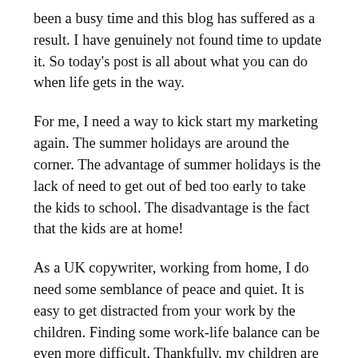been a busy time and this blog has suffered as a result. I have genuinely not found time to update it. So today's post is all about what you can do when life gets in the way.
For me, I need a way to kick start my marketing again. The summer holidays are around the corner. The advantage of summer holidays is the lack of need to get out of bed too early to take the kids to school. The disadvantage is the fact that the kids are at home!
As a UK copywriter, working from home, I do need some semblance of peace and quiet. It is easy to get distracted from your work by the children. Finding some work-life balance can be even more difficult. Thankfully, my children are old enough to amuse themselves for a short while. I normally trade with them – a morning's work for an afternoon of fun